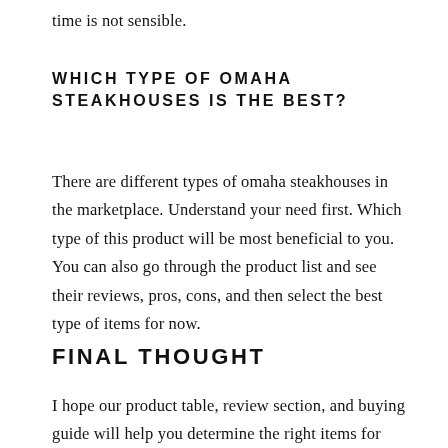time is not sensible.
WHICH TYPE OF OMAHA STEAKHOUSES IS THE BEST?
There are different types of omaha steakhouses in the marketplace. Understand your need first. Which type of this product will be most beneficial to you. You can also go through the product list and see their reviews, pros, cons, and then select the best type of items for now.
FINAL THOUGHT
I hope our product table, review section, and buying guide will help you determine the right items for your